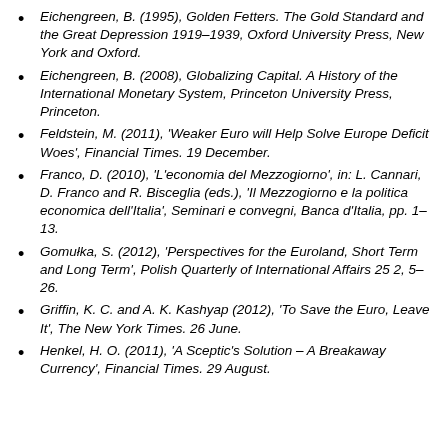Eichengreen, B. (1995), Golden Fetters. The Gold Standard and the Great Depression 1919–1939, Oxford University Press, New York and Oxford.
Eichengreen, B. (2008), Globalizing Capital. A History of the International Monetary System, Princeton University Press, Princeton.
Feldstein, M. (2011), 'Weaker Euro will Help Solve Europe Deficit Woes', Financial Times. 19 December.
Franco, D. (2010), 'L'economia del Mezzogiorno', in: L. Cannari, D. Franco and R. Bisceglia (eds.), 'Il Mezzogiorno e la politica economica dell'Italia', Seminari e convegni, Banca d'Italia, pp. 1–13.
Gomułka, S. (2012), 'Perspectives for the Euroland, Short Term and Long Term', Polish Quarterly of International Affairs 25 2, 5–26.
Griffin, K. C. and A. K. Kashyap (2012), 'To Save the Euro, Leave It', The New York Times. 26 June.
Henkel, H. O. (2011), 'A Sceptic's Solution – A Breakaway Currency', Financial Times. 29 August.